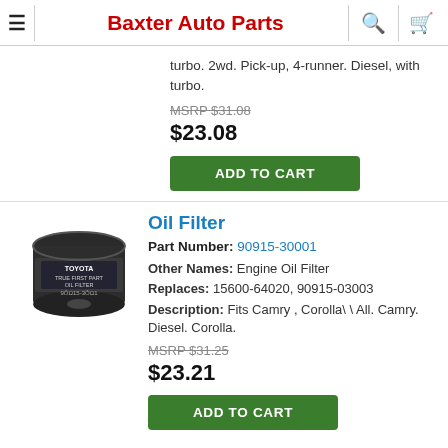Baxter Auto Parts
turbo. 2wd. Pick-up, 4-runner. Diesel, with turbo.
MSRP $31.08
$23.08
ADD TO CART
[Figure (photo): Toyota oil filter product photo, black cylindrical filter with Toyota branding and part number 90915-3001]
Oil Filter
Part Number: 90915-30001
Other Names: Engine Oil Filter
Replaces: 15600-64020, 90915-03003
Description: Fits Camry , Corolla\ \ All. Camry. Diesel. Corolla.
MSRP $31.25
$23.21
ADD TO CART